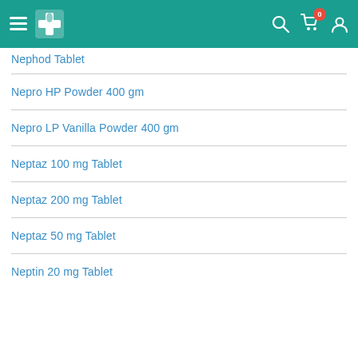Medical pharmacy app header with logo, search, cart (0), and user icons
Nephod Tablet
Nepro HP Powder 400 gm
Nepro LP Vanilla Powder 400 gm
Neptaz 100 mg Tablet
Neptaz 200 mg Tablet
Neptaz 50 mg Tablet
Neptin 20 mg Tablet